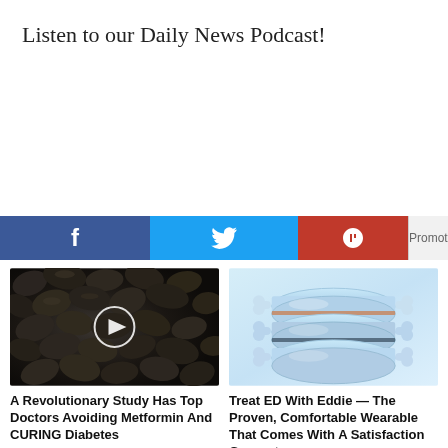Listen to our Daily News Podcast!
[Figure (infographic): Social sharing bar with Facebook (blue), Twitter (light blue), Parler (red) icons, and a Promoted label with X close button]
[Figure (photo): Dark rocky/seed texture with a circular play button overlay]
A Revolutionary Study Has Top Doctors Avoiding Metformin And CURING Diabetes
🔥 1,299
[Figure (photo): Light blue stacked rings/bracelets product photo on white background]
Treat ED With Eddie — The Proven, Comfortable Wearable That Comes With A Satisfaction Guarantee
🔥 158,568